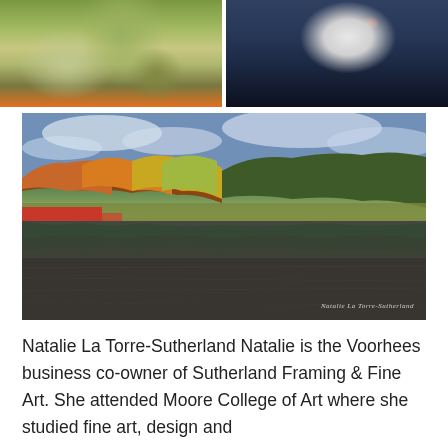[Figure (photo): Close-up nature photo of a small bird perched on plant stems with green leaves and orange flowers in background, shallow depth of field with blurred bokeh background]
[Figure (photo): Photo of a white swan swimming on dark blue water, bending its neck down toward the water surface]
[Figure (photo): Landscape photo of a calm lake with autumn foliage trees reflected in the water, colorful fall colors of red, orange, yellow and green, with cloudy sky. Watermark reads 'Natalie La Torre-Sutherland']
Natalie La Torre-Sutherland Natalie is the Voorhees business co-owner of Sutherland Framing & Fine Art. She attended Moore College of Art where she studied fine art, design and